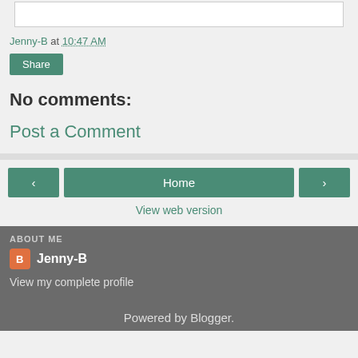[Figure (screenshot): Text input box area at top of page]
Jenny-B at 10:47 AM
Share
No comments:
Post a Comment
Home
View web version
ABOUT ME
Jenny-B
View my complete profile
Powered by Blogger.